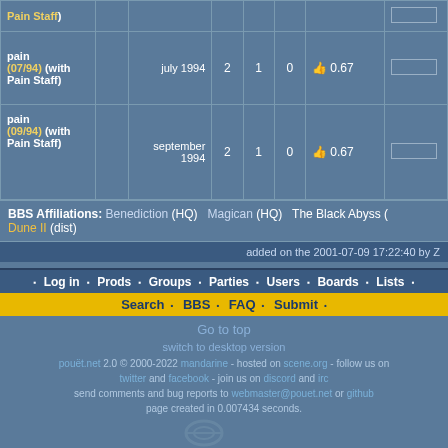| Name |  | Date | ↓ | ↑ | ? | Score | Bar |
| --- | --- | --- | --- | --- | --- | --- | --- |
| pain (07/94) (with Pain Staff) |  | july 1994 | 2 | 1 | 0 | 👍 0.67 |  |
| pain (09/94) (with Pain Staff) |  | september 1994 | 2 | 1 | 0 | 👍 0.67 |  |
BBS Affiliations: Benediction (HQ)  Magican (HQ)  The Black Abyss (  Dune II (dist)
added on the 2001-07-09 17:22:40 by Z
• Log in • Prods • Groups • Parties • Users • Boards • Lists •
Search • BBS • FAQ • Submit •
Go to top
switch to desktop version
pouët.net 2.0 © 2000-2022 mandarine - hosted on scene.org - follow us on twitter and facebook - join us on discord and irc send comments and bug reports to webmaster@pouet.net or github page created in 0.007434 seconds.